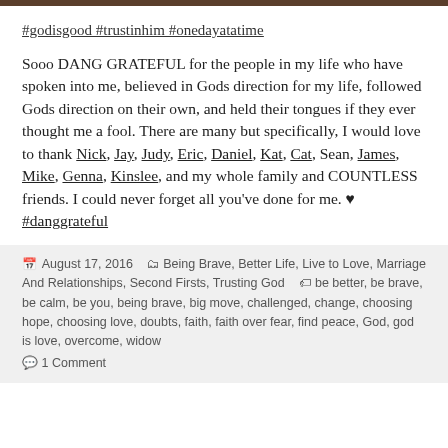#godisgood #trustinhim #onedayatatime
Sooo DANG GRATEFUL for the people in my life who have spoken into me, believed in Gods direction for my life, followed Gods direction on their own, and held their tongues if they ever thought me a fool. There are many but specifically, I would love to thank Nick, Jay, Judy, Eric, Daniel, Kat, Cat, Sean, James, Mike, Genna, Kinslee, and my whole family and COUNTLESS friends. I could never forget all you've done for me. ♥ #danggrateful
August 17, 2016  Being Brave, Better Life, Live to Love, Marriage And Relationships, Second Firsts, Trusting God  be better, be brave, be calm, be you, being brave, big move, challenged, change, choosing hope, choosing love, doubts, faith, faith over fear, find peace, God, god is love, overcome, widow  1 Comment